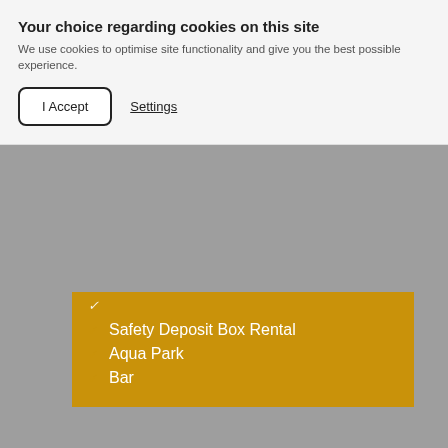Your choice regarding cookies on this site
We use cookies to optimise site functionality and give you the best possible experience.
Safety Deposit Box Rental
Aqua Park
Bar
[Figure (logo): TripAdvisor owl logo with 5 teal filled rating circles]
TripAdvisor Traveller Rating
Based on 1051 reviews
Nightmare stay for 24hours at this horrible place
[Figure (other): 1 out of 5 teal circles filled rating]
04 Aug 2022